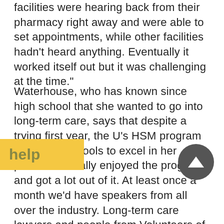facilities were hearing back from their pharmacy right away and were able to set appointments, while other facilities hadn't heard anything. Eventually it worked itself out but it was challenging at the time."
Waterhouse, who has known since high school that she wanted to go into long-term care, says that despite a trying first year, the U's HSM program gave her the tools to excel in her position. "I really enjoyed the program and got a lot out of it. At least once a month we'd have speakers from all over the industry. Long-term care lawyers and people from Volunteers of America and Monarch, which are different long-term care organizations, would come in and speak. There was a director of HR. We learned all aspects of health care and long-term care from all